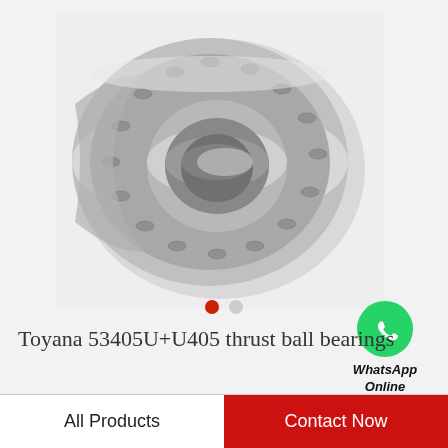[Figure (photo): A spherical roller bearing (Toyana 53405U+U405 thrust ball bearing) in metallic grey finish, shown in a 3/4 perspective view against a light grey background.]
[Figure (logo): WhatsApp icon (green circle with white phone handset) with the text 'WhatsApp Online' below it.]
Toyana 53405U+U405 thrust ball bearings
All Products
Contact Now